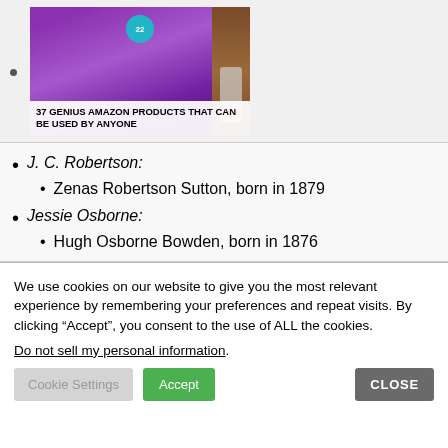[Figure (screenshot): Thumbnail image of article: 37 GENIUS AMAZON PRODUCTS THAT CAN BE USED BY ANYONE, with purple headphones and a number 22 badge]
J. C. Robertson:
Zenas Robertson Sutton, born in 1879
Jessie Osborne:
Hugh Osborne Bowden, born in 1876
We use cookies on our website to give you the most relevant experience by remembering your preferences and repeat visits. By clicking “Accept”, you consent to the use of ALL the cookies.
Do not sell my personal information.